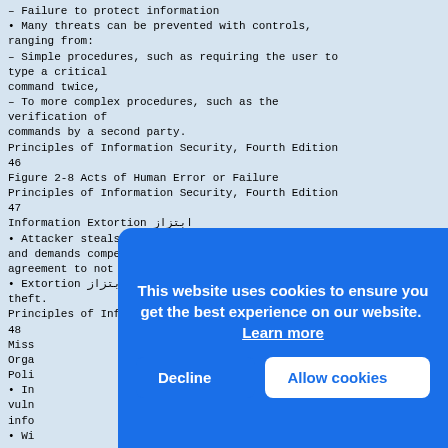– Failure to protect information
• Many threats can be prevented with controls, ranging from:
– Simple procedures, such as requiring the user to type a critical command twice,
– To more complex procedures, such as the verification of commands by a second party.
Principles of Information Security, Fourth Edition 46
Figure 2-8 Acts of Human Error or Failure
Principles of Information Security, Fourth Edition 47
Information Extortion ابتزاز
• Attacker steals information from computer system and demands compensation for its return or for an agreement to not disclose the information.
• Extortion ابتزاز is common in credit card number theft.
Principles of Information Security, Fourth Edition 48
Miss
Orga
Poli
• In
vuln
info
• Wi
can
loss
• Information security is, at its core, a management function
This website uses cookies to ensure you get the best experience on our website.  Learn more
Decline
Allow cookies